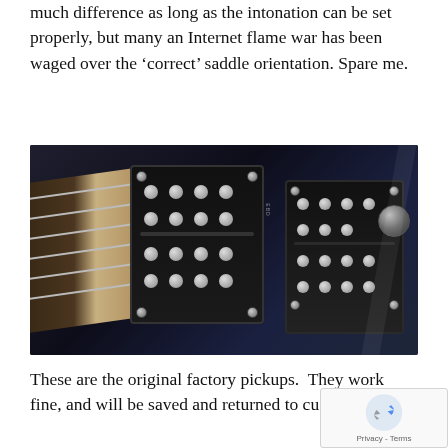much difference as long as the intonation can be set properly, but many an Internet flame war has been waged over the 'correct' saddle orientation. Spare me.
[Figure (photo): Close-up photograph of an electric guitar body showing two black humbucker pickups (neck and bridge positions) with visible pole pieces and adjustment screws. The guitar body appears to be black/dark blue with a visible fretboard on the left side.]
These are the original factory pickups.  They work fine, and will be saved and returned to customer.